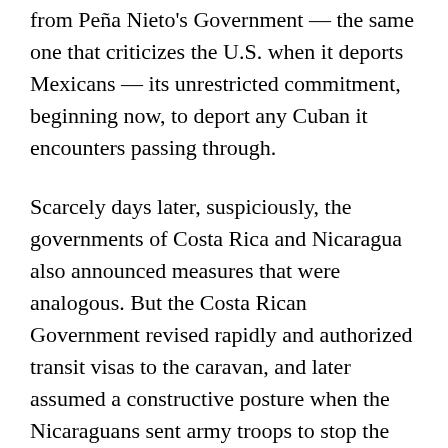from Peña Nieto's Government — the same one that criticizes the U.S. when it deports Mexicans — its unrestricted commitment, beginning now, to deport any Cuban it encounters passing through.
Scarcely days later, suspiciously, the governments of Costa Rica and Nicaragua also announced measures that were analogous. But the Costa Rican Government revised rapidly and authorized transit visas to the caravan, and later assumed a constructive posture when the Nicaraguans sent army troops to stop the attempt of these emigrants to cross the border. Things still remain at this point two weeks later.